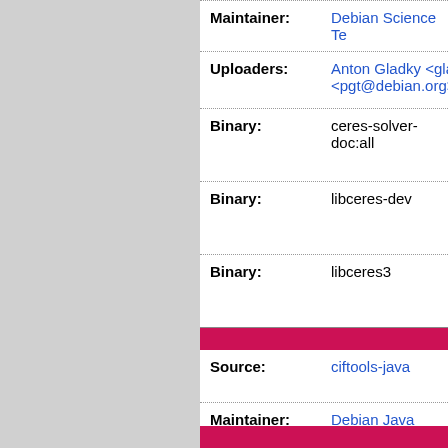| Field | Value |
| --- | --- |
| Maintainer: | Debian Science Te… |
| Uploaders: | Anton Gladky <gla… <pgt@debian.org>… |
| Binary: | ceres-solver-doc:all |
| Binary: | libceres-dev |
| Binary: | libceres3 |
| Field | Value |
| --- | --- |
| Source: | ciftools-java |
| Maintainer: | Debian Java Main… |
| Uploaders: | Pierre Gruet <pgt… |
| Binary: | libciftools-java:all |